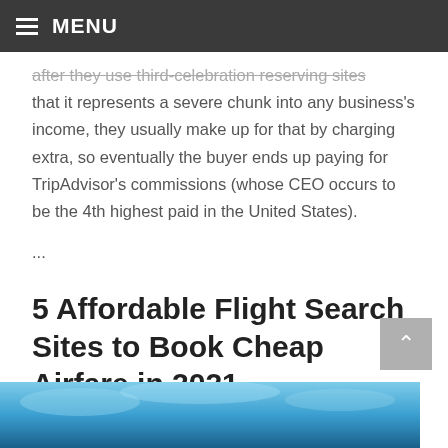MENU
after they use third-celebration reserving sites that it represents a severe chunk into any business's income, they usually make up for that by charging extra, so eventually the buyer ends up paying for TripAdvisor's commissions (whose CEO occurs to be the 4th highest paid in the United States).
...
5 Affordable Flight Search Sites to Book Cheap Airfare in 2021
May 18, 2021   Travel Websites
[Figure (photo): Blue sky and aircraft image at the bottom of the page]